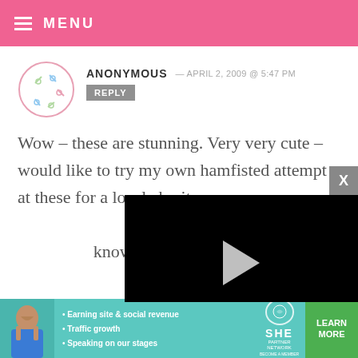MENU
ANONYMOUS — APRIL 2, 2009 @ 5:47 PM
REPLY
Wow – these are stunning. Very very cute – would like to try my own hamfisted attempt at these for a local charity event – what's the recipe? I know the – who'd know the difference than lying Thanks!
[Figure (screenshot): Video player overlay showing a black video player with play button, progress bar, and controls showing 13:52 timestamp, CC, grid, settings, and fullscreen icons]
[Figure (infographic): Advertisement banner for SHE Partner Network with a woman's image, bullet points about earning site & social revenue, traffic growth, speaking on stages, SHE logo, and a green Learn More button]